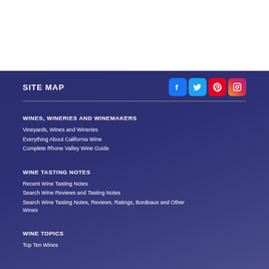SITE MAP
WINES, WINERIES AND WINEMAKERS
Vineyards, Wines and Wineries
Everything About California Wine
Complete Rhone Valley Wine Guide
WINE TASTING NOTES
Recent Wine Tasting Notes
Search Wine Reviews and Tasting Notes
Search Wine Tasting Notes, Reviews, Ratings, Bordeaux and Other Wines
WINE TOPICS
Top Ten Wines